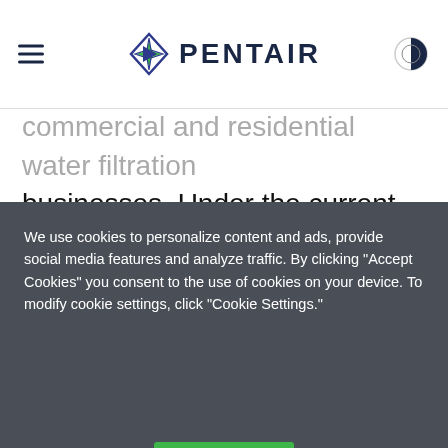PENTAIR
commercial and residential water filtration businesses. Under the current framework in discussion, Pentair would own approximately 80 percent of the joint venture interests, and GE Water & Process Technologies would own approximately 20 percent. The combined businesses had 2007 net sales of approximately $450 million. It is not currently contemplated that significant cash contributions would be required from either party to form the joint venture.
The parties to the discussion believe that this joint venture represents significant value to the...
We use cookies to personalize content and ads, provide social media features and analyze traffic. By clicking "Accept Cookies" you consent to the use of cookies on your device. To modify cookie settings, click "Cookie Settings."